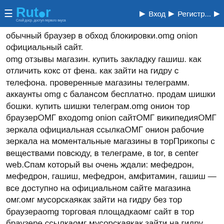Rutor | Вход | Регистр...
обычный браузер в обход блокировки.omg onion официальный сайт. omg отзывы магазин. купить закладку гашиш. как отличить кокс от фена. как зайти на гидру с телефона. проверенные магазины телеграмм. аккаунты omg с балансом бесплатно. продам шишки бошки. купить шишки телеграм.omg онион тор браузерОМГ входomg onion сайтОМГ википедияОМГ зеркала официальная ссылкаОМГ онион рабочие зеркала на моментальные магазины в торПрикопы с веществами повсюду, в телеграме, в tor, в center web.Спам который вы очень ждали: мефедрон, мефедрон, гашиш, мефедрон, амфитамин, гашиш — все доступно на официальном сайте магазина омг.омг мусорскаякак зайти на гидру без тор браузераomg торговая площадкаомг сайт в тор браузере ссылкаомг мусорскаякак зайти на гидру без тор браузераадмин гидрысайт гидры не работаетomg darknetшишки бошки купитьomg shopомг мусорскаяomg ссылкаТомск, Чебоксары, Кострома, Астана, Минск, Нижний Новгород, Первоуральск, Санкт-Петербург, Кемерово,